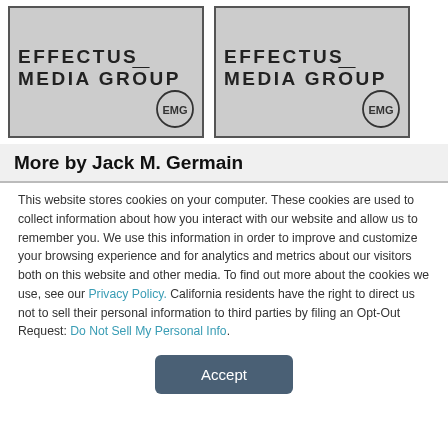[Figure (logo): Effectus Media Group logo with EMG badge — left instance]
[Figure (logo): Effectus Media Group logo with EMG badge — right instance]
More by Jack M. Germain
This website stores cookies on your computer. These cookies are used to collect information about how you interact with our website and allow us to remember you. We use this information in order to improve and customize your browsing experience and for analytics and metrics about our visitors both on this website and other media. To find out more about the cookies we use, see our Privacy Policy. California residents have the right to direct us not to sell their personal information to third parties by filing an Opt-Out Request: Do Not Sell My Personal Info.
Accept